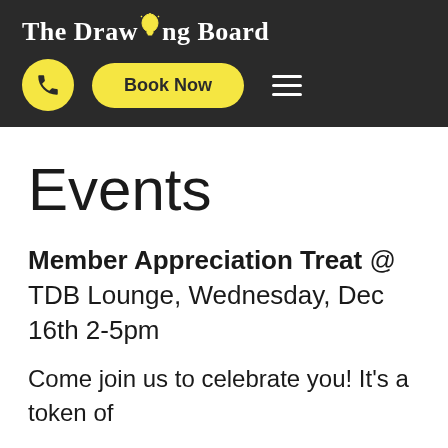The Drawing Board
[Figure (screenshot): Navigation bar with phone icon button, Book Now button, and hamburger menu icon on dark background]
Events
Member Appreciation Treat @ TDB Lounge, Wednesday, Dec 16th 2-5pm
Come join us to celebrate you! It's a token of